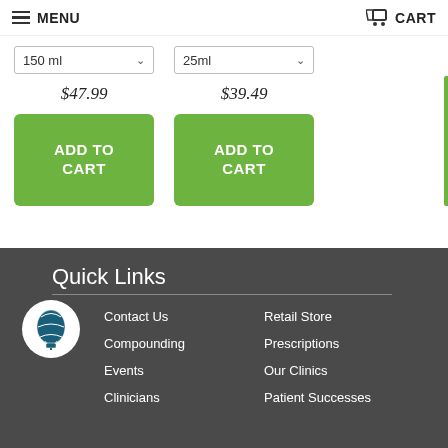MENU  CART
150 ml  $47.99
ADD TO CART
25ml  $39.49
ADD TO CART
Quick Links
Contact Us
Retail Store
Compounding
Prescriptions
Events
Our Clinics
Clinicians
Patient Successes